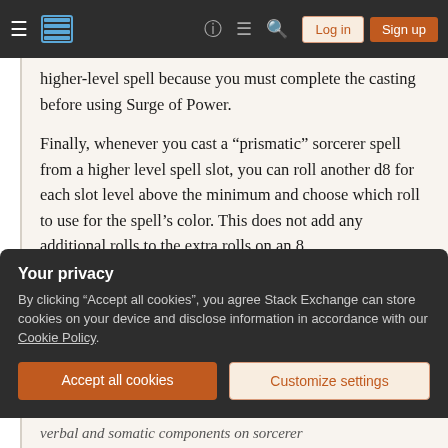Stack Exchange navigation bar with Log in and Sign up buttons
higher-level spell because you must complete the casting before using Surge of Power.
Finally, whenever you cast a “prismatic” sorcerer spell from a higher level spell slot, you can roll another d8 for each slot level above the minimum and choose which roll to use for the spell’s color. This does not add any additional rolls to the extra rolls on an 8.
Overdrawn
Your privacy
By clicking “Accept all cookies”, you agree Stack Exchange can store cookies on your device and disclose information in accordance with our Cookie Policy.
Accept all cookies
Customize settings
verbal and somatic components on sorcerer